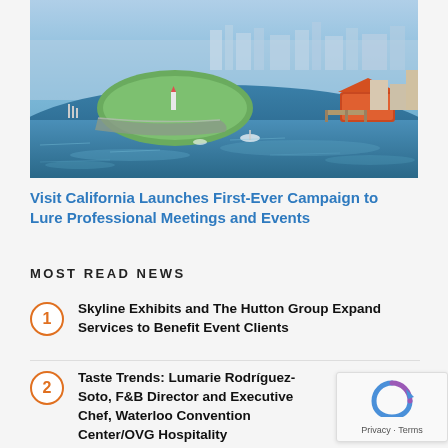[Figure (photo): Aerial view of a coastal city with a harbor, marina, green park peninsula with a lighthouse, calm blue water, and colorful buildings including an orange-roofed structure.]
Visit California Launches First-Ever Campaign to Lure Professional Meetings and Events
MOST READ NEWS
1. Skyline Exhibits and The Hutton Group Expand Services to Benefit Event Clients
2. Taste Trends: Lumarie Rodríguez-Soto, F&B Director and Executive Chef, Waterloo Convention Center/OVG Hospitality
3. OFFPRICE Show Continues to Build Post-Pandemic